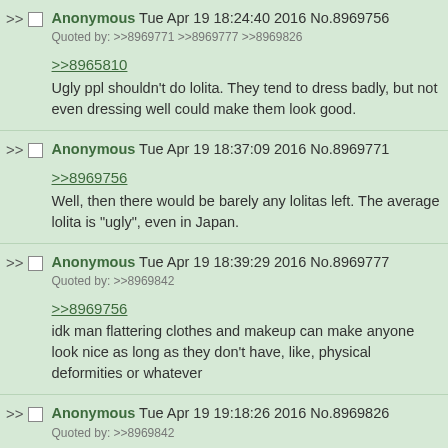Anonymous Tue Apr 19 18:24:40 2016 No.8969756
Quoted by: >>8969771 >>8969777 >>8969826
>>8965810
Ugly ppl shouldn't do lolita. They tend to dress badly, but not even dressing well could make them look good.
Anonymous Tue Apr 19 18:37:09 2016 No.8969771
>>8969756
Well, then there would be barely any lolitas left. The average lolita is "ugly", even in Japan.
Anonymous Tue Apr 19 18:39:29 2016 No.8969777
Quoted by: >>8969842
>>8969756
idk man flattering clothes and makeup can make anyone look nice as long as they don't have, like, physical deformities or whatever
Anonymous Tue Apr 19 19:18:26 2016 No.8969826
Quoted by: >>8969842